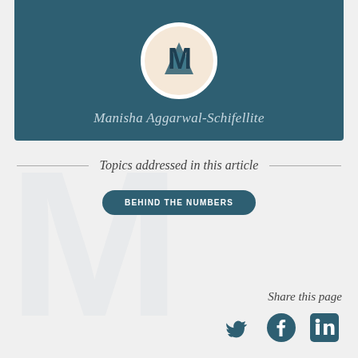[Figure (illustration): Author profile card with teal background, circular avatar showing stylized M logo, and author name Manisha Aggarwal-Schifellite in italic light text]
Manisha Aggarwal-Schifellite
Topics addressed in this article
BEHIND THE NUMBERS
Share this page
[Figure (illustration): Social media icons: Twitter bird, Facebook f, and LinkedIn in logo in dark teal color]